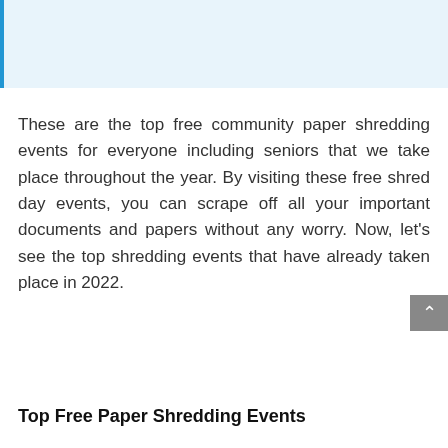[Figure (other): Light blue banner/header area with a blue left border stripe]
These are the top free community paper shredding events for everyone including seniors that we take place throughout the year. By visiting these free shred day events, you can scrape off all your important documents and papers without any worry. Now, let’s see the top shredding events that have already taken place in 2022.
Top Free Paper Shredding Events